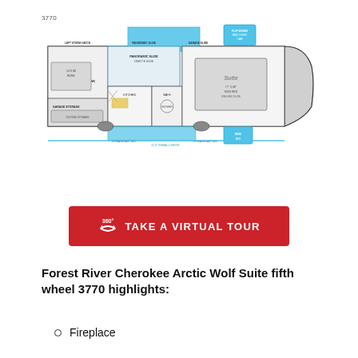3770
[Figure (engineering-diagram): Floor plan diagram of Forest River Cherokee Arctic Wolf Suite fifth wheel 3770, showing interior layout with bedroom, bathroom, kitchen, living area, and slide-outs. Blue highlighted areas indicate slide-outs. Various labeled features throughout.]
[Figure (infographic): Red button with 360° icon and text 'TAKE A VIRTUAL TOUR']
Forest River Cherokee Arctic Wolf Suite fifth wheel 3770 highlights:
Fireplace